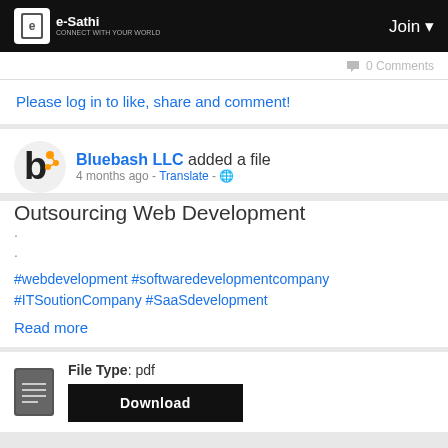e-Sathi  Join
0 Comments
Please log in to like, share and comment!
Bluebash LLC added a file
4 months ago - Translate -
Outsourcing Web Development
.
.
#webdevelopment #softwaredevelopmentcompany #ITSoutionCompany #SaaSdevelopment
Read more
File Type: pdf
Download